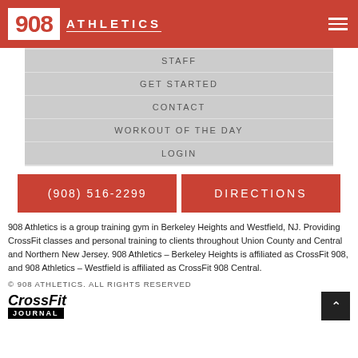908 ATHLETICS
STAFF
GET STARTED
CONTACT
WORKOUT OF THE DAY
LOGIN
(908) 516-2299
DIRECTIONS
908 Athletics is a group training gym in Berkeley Heights and Westfield, NJ. Providing CrossFit classes and personal training to clients throughout Union County and Central and Northern New Jersey.  908 Athletics – Berkeley Heights is affiliated as CrossFit 908, and 908 Athletics – Westfield is affiliated as CrossFit 908 Central.
© 908 ATHLETICS. ALL RIGHTS RESERVED
[Figure (logo): CrossFit Journal logo]